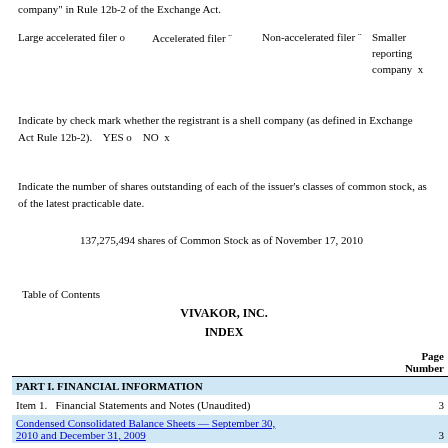company" in Rule 12b-2 of the Exchange Act.
Large accelerated filer o    Accelerated filer ¨    Non-accelerated filer ¨    Smaller reporting company  x
Indicate by check mark whether the registrant is a shell company (as defined in Exchange Act Rule 12b-2).    YES o    NO  x
Indicate the number of shares outstanding of each of the issuer's classes of common stock, as of the latest practicable date.
137,275,494 shares of Common Stock as of November 17, 2010
Table of Contents
VIVAKOR, INC.
INDEX
|  | Page Number |
| --- | --- |
| PART I. FINANCIAL INFORMATION |  |
| Item 1.    Financial Statements and Notes (Unaudited) | 3 |
| Condensed Consolidated Balance Sheets — September 30, 2010 and December 31, 2009 | 3 |